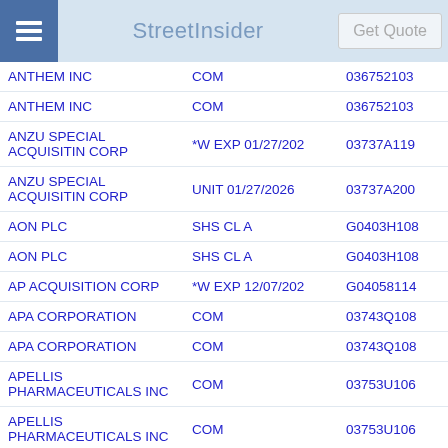StreetInsider | Get Quote
| Company | Type | CUSIP | Value |
| --- | --- | --- | --- |
| ANTHEM INC | COM | 036752103 | 20 |
| ANTHEM INC | COM | 036752103 | 49 |
| ANZU SPECIAL ACQUISITIN CORP | *W EXP 01/27/202 | 03737A119 |  |
| ANZU SPECIAL ACQUISITIN CORP | UNIT 01/27/2026 | 03737A200 | 3,22 |
| AON PLC | SHS CL A | G0403H108 | 52 |
| AON PLC | SHS CL A | G0403H108 | 97 |
| AP ACQUISITION CORP | *W EXP 12/07/202 | G04058114 | 4 |
| APA CORPORATION | COM | 03743Q108 | 8,54 |
| APA CORPORATION | COM | 03743Q108 | 5,11 |
| APELLIS PHARMACEUTICALS INC | COM | 03753U106 |  |
| APELLIS PHARMACEUTICALS INC | COM | 03753U106 | 7,62 |
| APOLLO COML REAL | COM | 03762U105 | 21,96 |